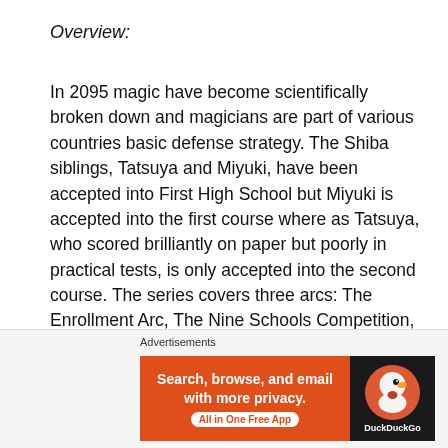Overview:
In 2095 magic have become scientifically broken down and magicians are part of various countries basic defense strategy. The Shiba siblings, Tatsuya and Miyuki, have been accepted into First High School but Miyuki is accepted into the first course where as Tatsuya, who scored brilliantly on paper but poorly in practical tests, is only accepted into the second course. The series covers three arcs: The Enrollment Arc, The Nine Schools Competition, and the Yokohama Disturbance.
Review:
Advertisements
[Figure (other): DuckDuckGo advertisement banner: Search, browse, and email with more privacy. All in One Free App. Shows DuckDuckGo duck logo on dark background.]